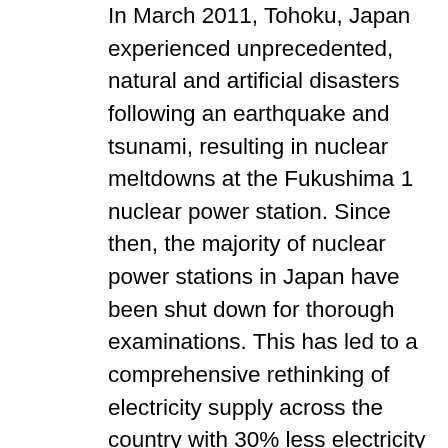In March 2011, Tohoku, Japan experienced unprecedented, natural and artificial disasters following an earthquake and tsunami, resulting in nuclear meltdowns at the Fukushima 1 nuclear power station. Since then, the majority of nuclear power stations in Japan have been shut down for thorough examinations. This has led to a comprehensive rethinking of electricity supply across the country with 30% less electricity available than before. The earthquake damaged a large number of manufacturing facilities in the Tohoku area, responsible for the production of various key manufacturing components. This has resulted in the suspension of some operations in automotive manufacturing plants globally for many months. A similar incident occurred after severe flooding hit Thailand in June 2011, affecting the global electronics industry.